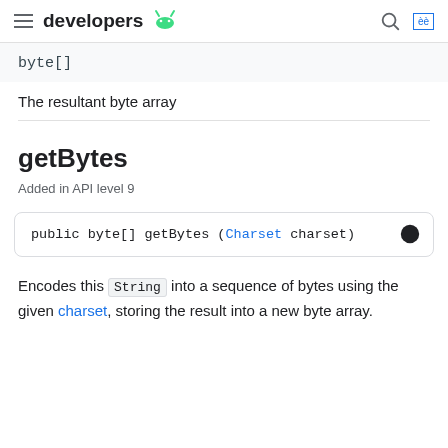developers [Android logo]
byte[]
The resultant byte array
getBytes
Added in API level 9
public byte[] getBytes (Charset charset)
Encodes this String into a sequence of bytes using the given charset, storing the result into a new byte array.